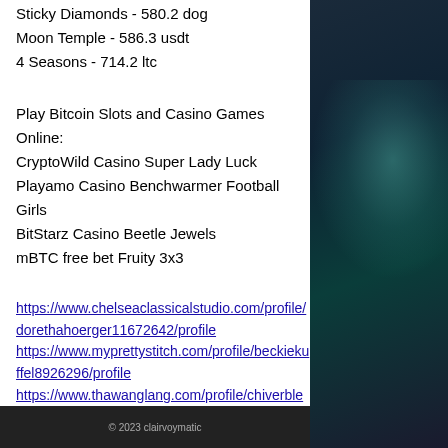Sticky Diamonds - 580.2 dog
Moon Temple - 586.3 usdt
4 Seasons - 714.2 ltc
Play Bitcoin Slots and Casino Games Online:
CryptoWild Casino Super Lady Luck
Playamo Casino Benchwarmer Football Girls
BitStarz Casino Beetle Jewels
mBTC free bet Fruity 3x3
https://www.chelseaclassicalstudio.com/profile/dorethahoerger11672642/profile https://www.myprettystitch.com/profile/beckiekuffel8926296/profile https://www.thawanglang.com/profile/chiverble14981424/profile https://www.robotteca.com/profile/kelsieogilvi e9692713/profile
[Figure (photo): Dark decorative background image on the right side, with teal/green sparkle effect, and a dark footer bar at bottom showing copyright 2023 text.]